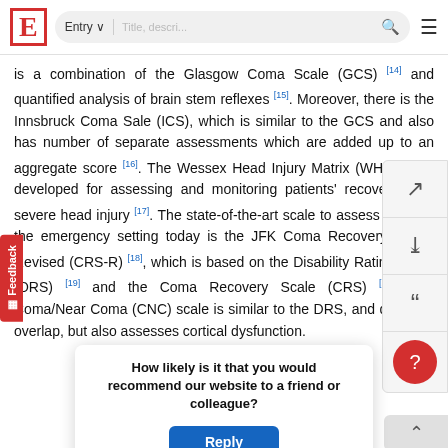E [logo] | Entry ∨ | Title, descri... 🔍 ≡
is a combination of the Glasgow Coma Scale (GCS) [14] and quantified analysis of brain stem reflexes [15]. Moreover, there is the Innsbruck Coma Sale (ICS), which is similar to the GCS and also has number of separate assessments which are added up to an aggregate score [16]. The Wessex Head Injury Matrix (WHIM) was developed for assessing and monitoring patients' recovery after severe head injury [17]. The state-of-the-art scale to assess coma in the emergency setting today is the JFK Coma Recovery Scale-Revised (CRS-R) [18], which is based on the Disability Rating Scale (DRS) [19] and the Coma Recovery Scale (CRS) [20]. The Coma/Near Coma (CNC) scale is similar to the DRS, and does not overlap, but also assesses cortical dysfunction.
How likely is it that you would recommend our website to a friend or colleague?
Reply